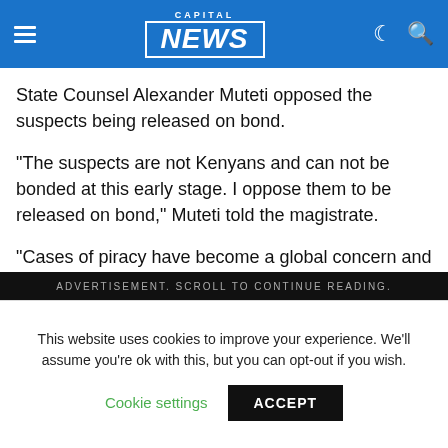CAPITAL NEWS
State Counsel Alexander Muteti opposed the suspects being released on bond.
"The suspects are not Kenyans and can not be bonded at this early stage. I oppose them to be released on bond," Muteti told the magistrate.
"Cases of piracy have become a global concern and this case need to be given the seriousness it deserves and I object the suspects to be bonded," added Mr Muteti.
ADVERTISEMENT. SCROLL TO CONTINUE READING.
This website uses cookies to improve your experience. We'll assume you're ok with this, but you can opt-out if you wish.
Cookie settings   ACCEPT